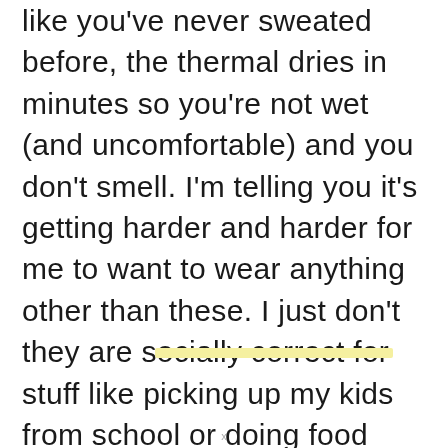like you've never sweated before, the thermal dries in minutes so you're not wet (and uncomfortable) and you don't smell. I'm telling you it's getting harder and harder for me to want to wear anything other than these. I just don't they are socially correct for stuff like picking up my kids from school or doing food shopping.